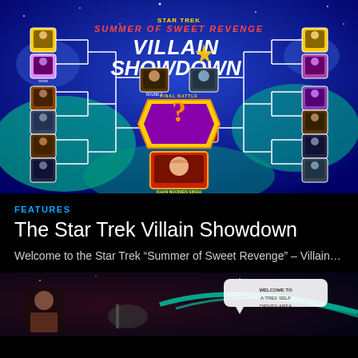[Figure (infographic): Star Trek Summer of Sweet Revenge Villain Showdown bracket tournament graphic with character photos on blue/teal space background. Shows bracket structure with various Star Trek villains competing, with a central '?' card for Final Battle and Khan Noonien Singh highlighted at bottom center.]
FEATURES
The Star Trek Villain Showdown
Welcome to the Star Trek “Summer of Sweet Revenge” – Villain…
[Figure (screenshot): Partial screenshot of another Star Trek related article or feature, showing a space scene with a character and a speech bubble, against a dark space background with a teal swoosh/comet design.]